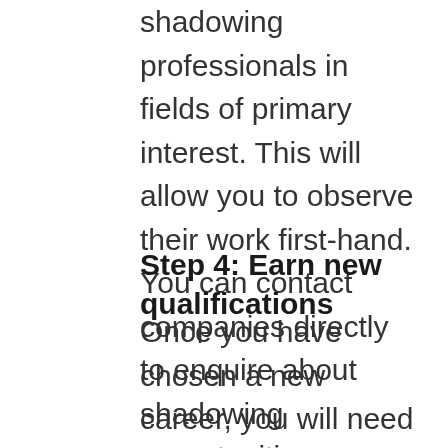shadowing professionals in fields of primary interest. This will allow you to observe their work first-hand. You can contact companies directly to enquire about shadowing opportunities.
Step 4: Earn new qualifications
Once you have chosen a new career, you will need to build your skills and acquire the qualifications needed for that role. The qualifications you need will depend on your prior education/experience and the level of